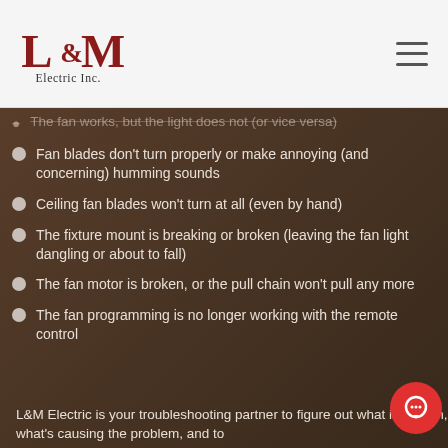L&M Electric Inc.
The fan works, but the light does not (or vice versa)
Fan blades don't turn properly or make annoying (and concerning) humming sounds
Ceiling fan blades won't turn at all (even by hand)
The fixture mount is breaking or broken (leaving the fan light dangling or about to fall)
The fan motor is broken, or the pull chain won't pull any more
The fan programming is no longer working with the remote control
L&M Electric is your troubleshooting partner to figure out what is broken, what's causing the problem, and to